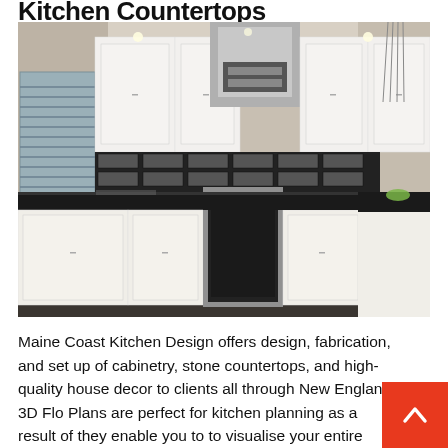Kitchen Countertops
[Figure (photo): Modern kitchen interior with white cabinetry, black stone countertops, black tile backsplash, stainless steel range and hood, dark hardwood floor, pendant lights.]
Maine Coast Kitchen Design offers design, fabrication, and set up of cabinetry, stone countertops, and high-quality house decor to clients all through New England. 3D Flo Plans are perfect for kitchen planning as a result of they enable you to to visualise your entire room together with